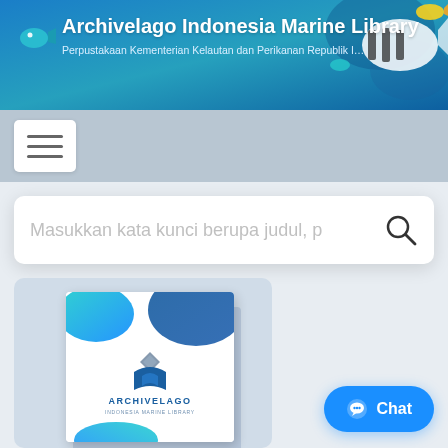[Figure (screenshot): Website header banner with underwater ocean background showing tropical fish. Contains the Archivelago logo (small fish icon), title text and subtitle text on a blue oceanic background.]
Archivelago Indonesia Marine Library
Perpustakaan Kementerian Kelautan dan Perikanan Republik Indonesia
[Figure (other): Navigation bar with white hamburger/menu button showing three horizontal lines]
Masukkan kata kunci berupa judul, p…
[Figure (other): Book cover thumbnail in a card with blue gradient abstract design, Archivelago logo in center, on a light blue-grey card background]
Chat